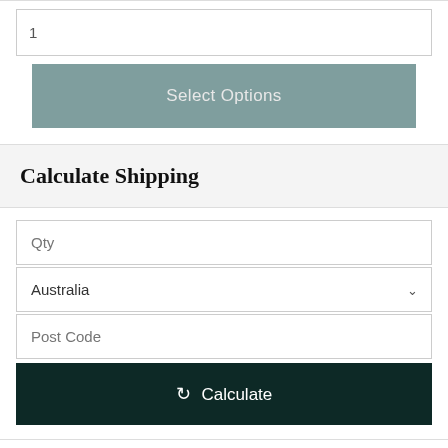1
Select Options
Calculate Shipping
Qty
Australia
Post Code
Calculate